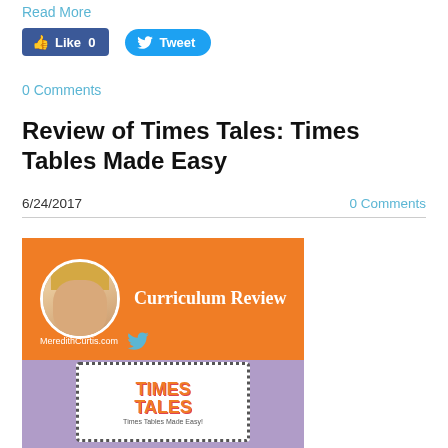Read More
[Figure (screenshot): Facebook Like button (blue, count 0) and Twitter Tweet button (blue rounded)]
0 Comments
Review of Times Tales: Times Tables Made Easy
6/24/2017
0 Comments
[Figure (illustration): Curriculum Review banner with woman's headshot on orange background with MeredithCurtis.com text, and Times Tales book cover on purple background below]